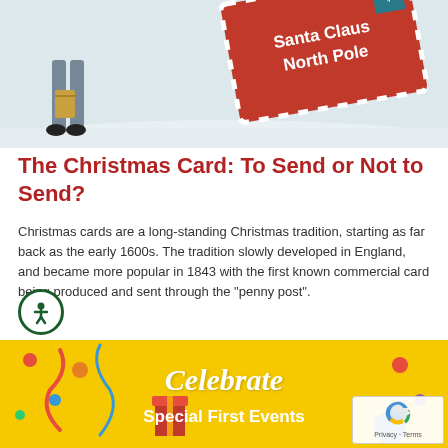[Figure (photo): Christmas scene with figurines on snow and a red envelope addressed to Santa Claus, North Pole with decorative border]
The Christmas Card: To Send or Not to Send?
Christmas cards are a long-standing Christmas tradition, starting as far back as the early 1600s. The tradition slowly developed in England, and became more popular in 1843 with the first known commercial card being produced and sent through the “penny post”.
AUGUST 22, 2022
[Figure (photo): Yellow banner with colorful confetti and decorations with text Celebrate Special First Events]